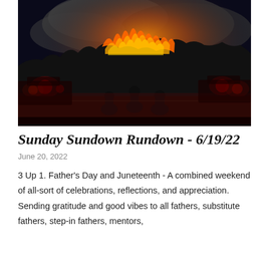[Figure (photo): Night-time wildfire photo showing a hillside engulfed in flames and smoke, with three people silhouetted in the foreground watching, and emergency vehicles with red lights visible on either side.]
Sunday Sundown Rundown - 6/19/22
June 20, 2022
3 Up 1. Father's Day and Juneteenth - A combined weekend of all-sort of celebrations, reflections, and appreciation. Sending gratitude and good vibes to all fathers, substitute fathers, step-in fathers, mentors,